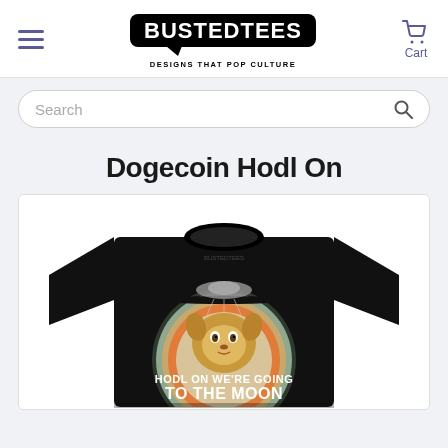BustedTees - DESIGNS THAT POP CULTURE | Cart
Search
Dogecoin Hodl On
[Figure (photo): Black t-shirt with Doge meme dog, UFO, and retro sunset circle graphic. Text on shirt reads: HODL ON WE'RE GOING TO THE MOON]